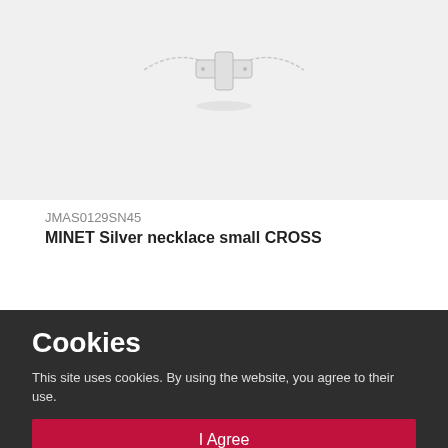[Figure (photo): Silver cross necklace pendant on a chain against a light gray background]
JMAS0129SN45
MINET Silver necklace small CROSS
18.50 €
Cookies
This site uses cookies. By using the website, you agree to their use.
I Agree